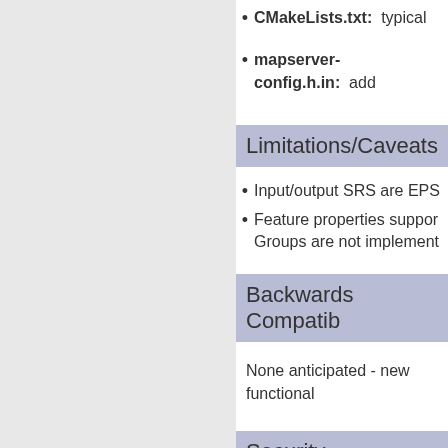Build Files Changed
CMakeLists.txt: typical
mapserver-config.h.in: add
Limitations/Caveats
Input/output SRS are EPS
Feature properties suppor... Groups are not implement
Backwards Compatib
None anticipated - new functional
Security Consideratio
API Route Handling